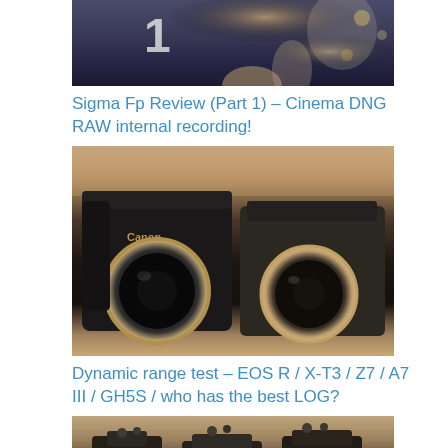[Figure (photo): Top portion of a photo showing a person holding something, with bokeh lights in background]
Sigma Fp Review (Part 1) – Cinema DNG RAW internal recording!
[Figure (photo): Two mirrorless cameras side by side without lenses — a Canon EOS R on the left and a Fujifilm X-T3 on the right, on a warm-toned surface]
Dynamic range test – EOS R / X-T3 / Z7 / A7 III / GH5S / who has the best LOG?
[Figure (photo): Multiple cameras seen from above on a table, partial view cut off at bottom of page]